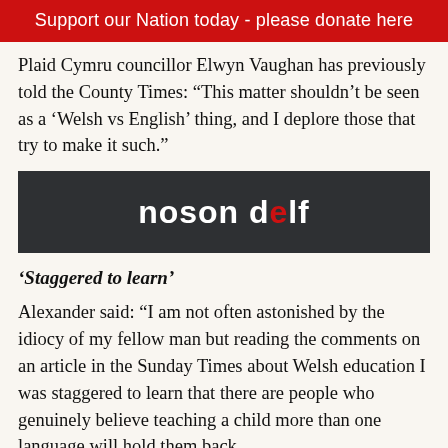Support our Nation today - please donate here
Plaid Cymru councillor Elwyn Vaughan has previously told the County Times: “This matter shouldn’t be seen as a ‘Welsh vs English’ thing, and I deplore those that try to make it such.”
[Figure (logo): Dark banner with 'noson delf' logo text in white and red on dark grey background]
‘Staggered to learn’
Alexander said: “I am not often astonished by the idiocy of my fellow man but reading the comments on an article in the Sunday Times about Welsh education I was staggered to learn that there are people who genuinely believe teaching a child more than one language will hold them back.
“How can a child learning more be detrimental?